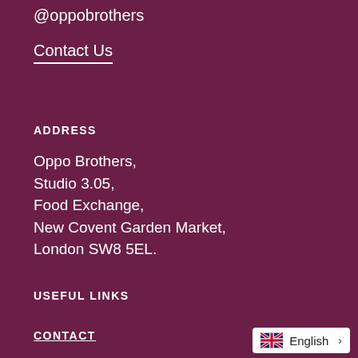@oppobrothers
Contact Us
ADDRESS
Oppo Brothers,
Studio 3.05,
Food Exchange,
New Covent Garden Market,
London SW8 5EL.
USEFUL LINKS
CONTACT
English